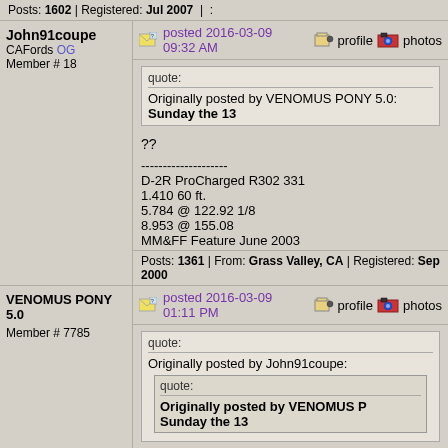Posts: 1602 | Registered: Jul 2007 | :
John91coupe
CAFords OG
Member # 18
posted 2016-03-09 09:32 AM
profile  photos
quote:
Originally posted by VENOMUS PONY 5.0:
Sunday the 13
??
--------------------
D-2R ProCharged R302 331
1.410 60 ft.
5.784 @ 122.92 1/8
8.953 @ 155.08
MM&FF Feature June 2003
Posts: 1361 | From: Grass Valley, CA | Registered: Sep 2000
VENOMUS PONY 5.0
Member # 7785
posted 2016-03-09 01:11 PM
profile  photos
quote:
Originally posted by John91coupe:
quote:
Originally posted by VENOMUS PONY 5.0:
Sunday the 13